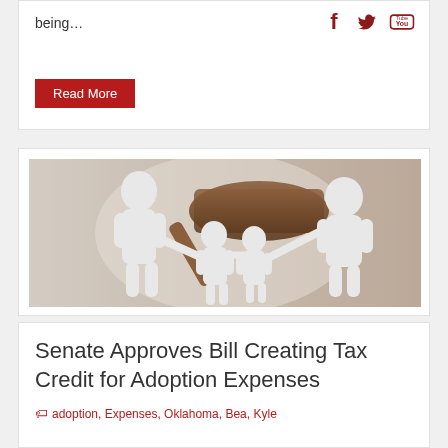being…
[Figure (logo): Social media icons: Facebook, Twitter, YouTube in dark red/crimson]
Read More
[Figure (photo): Paper cutout family figures (adult, two children) holding hands with a judge's gavel/mallet in the background, on a light background]
Senate Approves Bill Creating Tax Credit for Adoption Expenses
adoption, Expenses, Oklahoma, Bea, Kyle